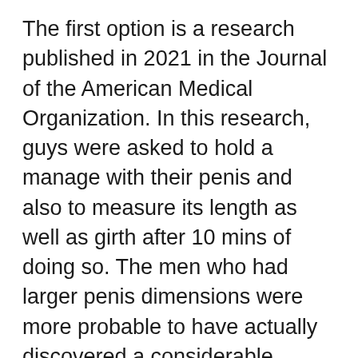The first option is a research published in 2021 in the Journal of the American Medical Organization. In this research, guys were asked to hold a manage with their penis and also to measure its length as well as girth after 10 mins of doing so. The men who had larger penis dimensions were more probable to have actually discovered a considerable increase in their penile girth after 10 minutes. The guys with smaller penis sizes weren't able to notice any kind of adjustments in their length after they had actually gotten the deal with.
Another research published in the Journal of Sexual Medication focuses on the result of anxiety on penis dimension. Men were asked to resist bleeding a lube over their penis for